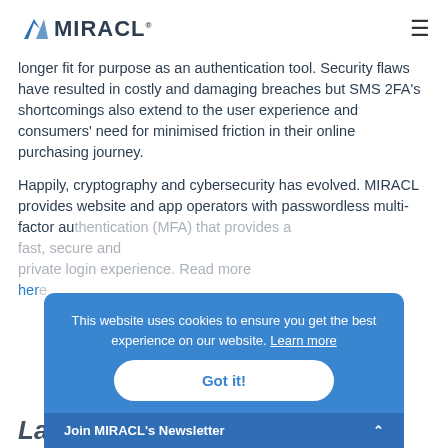MIRACL
longer fit for purpose as an authentication tool. Security flaws have resulted in costly and damaging breaches but SMS 2FA's shortcomings also extend to the user experience and consumers' need for minimised friction in their online purchasing journey.
Happily, cryptography and cybersecurity has evolved. MIRACL provides website and app operators with passwordless multi-factor authentication (MFA) that provides a fast, secure and private login experience. Read more here
[Figure (other): Cookie consent banner overlay with blue background reading: 'This website uses cookies to ensure you get the best experience on our website. Learn more' with a 'Got it!' button and a 'Join MIRACL's Newsletter' bar at the bottom.]
Latest